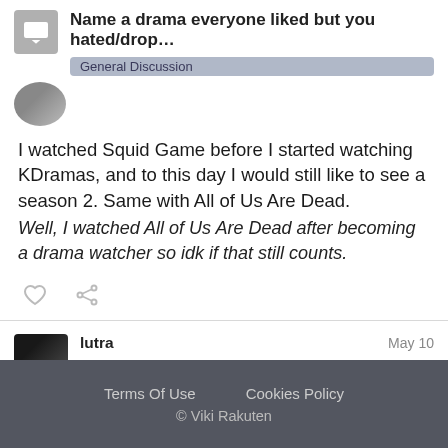Name a drama everyone liked but you hated/drop... | General Discussion
I watched Squid Game before I started watching KDramas, and to this day I would still like to see a season 2. Same with All of Us Are Dead.
Well, I watched All of Us Are Dead after becoming a drama watcher so idk if that still counts.
lutra  May 10
ratatouille_raco: